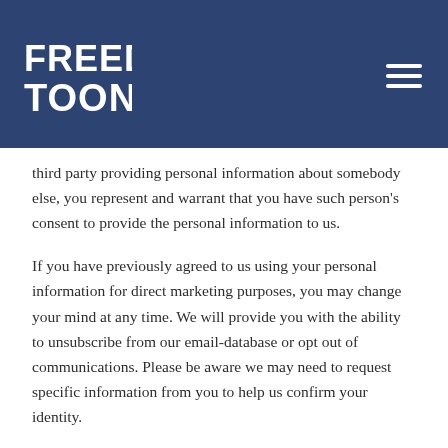[Figure (logo): Freedom Toons logo in white block text on dark blue header background]
third party providing personal information about somebody else, you represent and warrant that you have such person's consent to provide the personal information to us.
If you have previously agreed to us using your personal information for direct marketing purposes, you may change your mind at any time. We will provide you with the ability to unsubscribe from our email-database or opt out of communications. Please be aware we may need to request specific information from you to help us confirm your identity.
If you believe that any information we hold about you is inaccurate, out of date, incomplete, irrelevant, or misleading, please contact us using the details provided in this privacy